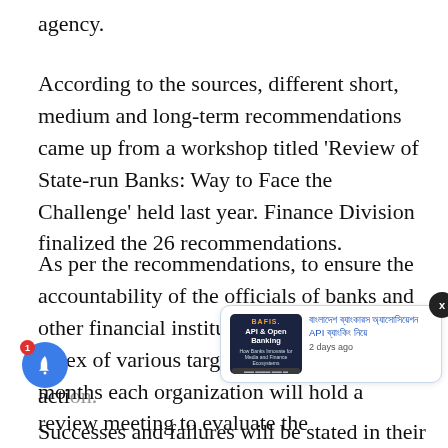agency.
According to the sources, different short, medium and long-term recommendations came up from a workshop titled 'Review of State-run Banks: Way to Face the Challenge' held last year. Finance Division finalized the 26 recommendations.
As per the recommendations, to ensure the accountability of the officials of banks and other financial institutions, there will be an index of various targets and in every three months each organization will hold a review meeting to evaluate the [action].
[Figure (screenshot): Popup notification card showing API & Open Banking image with Bengali text title and '2 days ago' timestamp, with an X close button and a blue bell notification button with badge showing 1]
Successes and failures will be stated in their